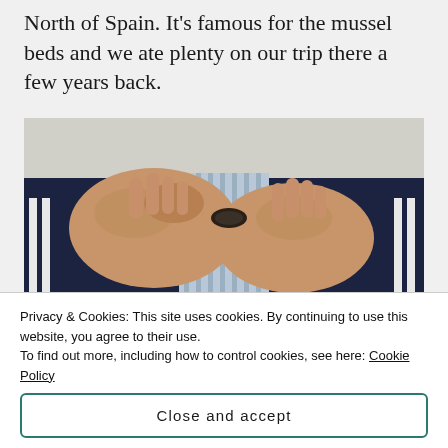North of Spain. It's famous for the mussel beds and we ate plenty on our trip there a few years back.
[Figure (photo): A person in a dark tracksuit jacket eating mussels from a white dish. Their hands are holding a mussel shell close to their mouth. Below, a plate of open dark-shelled mussels is visible.]
Privacy & Cookies: This site uses cookies. By continuing to use this website, you agree to their use.
To find out more, including how to control cookies, see here: Cookie Policy
Close and accept